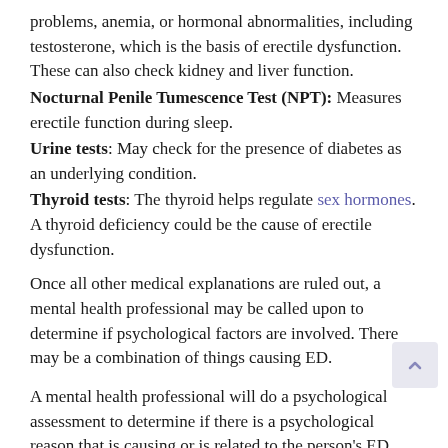problems, anemia, or hormonal abnormalities, including testosterone, which is the basis of erectile dysfunction. These can also check kidney and liver function.
Nocturnal Penile Tumescence Test (NPT): Measures erectile function during sleep.
Urine tests: May check for the presence of diabetes as an underlying condition.
Thyroid tests: The thyroid helps regulate sex hormones. A thyroid deficiency could be the cause of erectile dysfunction.
Once all other medical explanations are ruled out, a mental health professional may be called upon to determine if psychological factors are involved. There may be a combination of things causing ED.
A mental health professional will do a psychological assessment to determine if there is a psychological reason that is causing or is related to the person's ED.